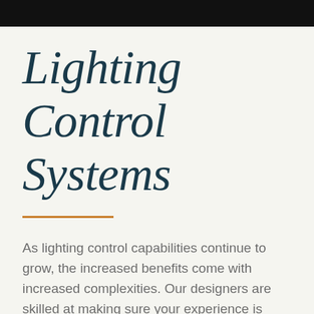Lighting Control Systems
As lighting control capabilities continue to grow, the increased benefits come with increased complexities. Our designers are skilled at making sure your experience is simple and delightful. Our lighting needs change throughout the course of a day; we believe your lighting should change with it.